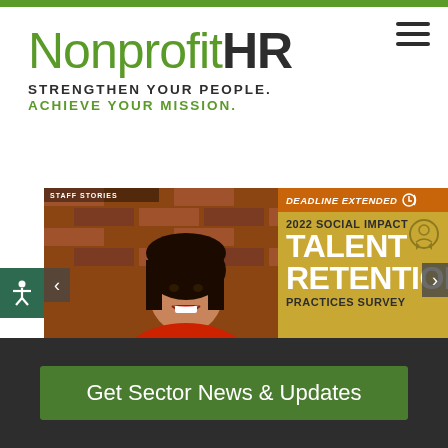[Figure (logo): Nonprofit HR logo with taglines: STRENGTHEN YOUR PEOPLE. ACHIEVE YOUR MISSION.]
[Figure (photo): Staff Stories: Photo of Dotti David smiling, woman with dark hair wearing red, in front of brick wall]
[Figure (infographic): 2022 Social Impact Talent Retention Practices Survey - Deadline Extended banner on gold/yellow background. Respond by Friday, August 26.]
Get Sector News & Updates